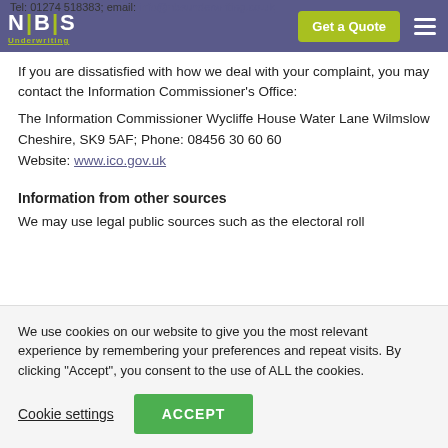Tel: 01274 518383; email: info@nbsunderwriting.co.uk
If you are dissatisfied with how we dealt with your complaint, you may contact the Information Commissioner's Office:
The Information Commissioner Wycliffe House Water Lane Wilmslow Cheshire, SK9 5AF; Phone: 08456 30 60 60 Website: www.ico.gov.uk
Information from other sources
We may use legal public sources such as the electoral roll
We use cookies on our website to give you the most relevant experience by remembering your preferences and repeat visits. By clicking "Accept", you consent to the use of ALL the cookies.